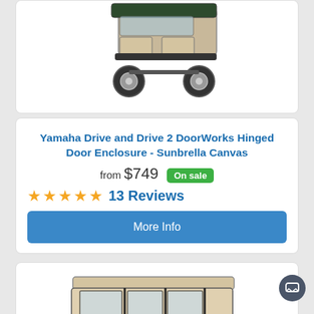[Figure (photo): Photo of a Yamaha Drive/Drive2 golf cart with tan/beige hinged door enclosure, DoorWorks Sunbrella Canvas, top portion visible]
Yamaha Drive and Drive 2 DoorWorks Hinged Door Enclosure - Sunbrella Canvas
from $749  On sale
★★★★★  13 Reviews
More Info
[Figure (photo): Photo of a golf cart with a full tan/beige enclosure with clear windows and black frame, white cart body visible]